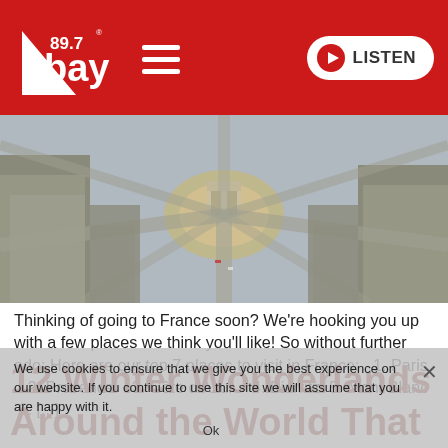89.7 bay — LISTEN
[Figure (photo): Aerial view of the Arc de Triomphe in Paris, France, showing the roundabout and surrounding Haussmann-style buildings]
Thinking of going to France soon? We're hooking you up with a few places we think you'll like! So without further ado: Here are our top 7 places to visit in France:  1. Paris   2. Provence   3. Côte d'Azur   4. Biarritz  5. Mont Blanc  6. [...]
We use cookies to ensure that we give you the best experience on our website. If you continue to use this site we will assume that you are happy with it.
12 Winter Wonderlands Around the World That Are Worth The Visit